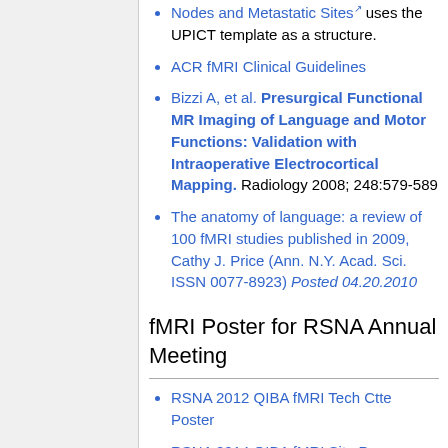Nodes and Metastatic Sites uses the UPICT template as a structure.
ACR fMRI Clinical Guidelines
Bizzi A, et al. Presurgical Functional MR Imaging of Language and Motor Functions: Validation with Intraoperative Electrocortical Mapping. Radiology 2008; 248:579-589
The anatomy of language: a review of 100 fMRI studies published in 2009, Cathy J. Price (Ann. N.Y. Acad. Sci. ISSN 0077-8923) Posted 04.20.2010
fMRI Poster for RSNA Annual Meeting
RSNA 2012 QIBA fMRI Tech Ctte Poster
RSNA 2014 QIBA fMRI Site P...